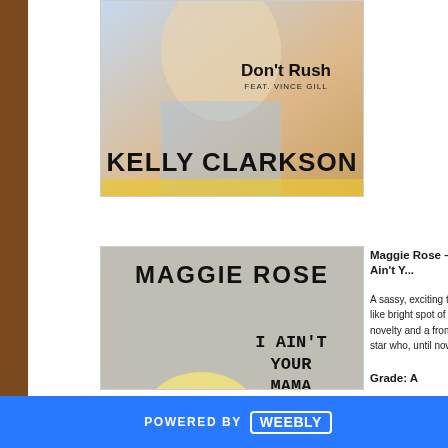[Figure (photo): Kelly Clarkson - Don't Rush feat. Vince Gill album art]
[Figure (photo): Maggie Rose - I Ain't Your Mama album artwork showing blonde woman with microphone]
Maggie Rose – "I Ain't Y..."
A sassy, exciting track like bright spot of novelty and a from a star who, until now,
Grade: A
[Figure (photo): Faith Hill album art (partially visible, dark image)]
Faith Hill – "American Ho..."
POWERED BY weebly